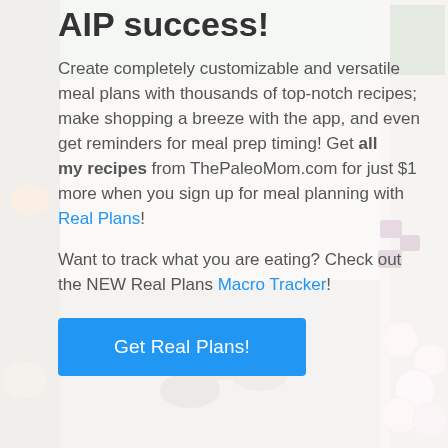[Figure (photo): Background photo of meal prep containers with various foods including greens, beets, radishes, and mushrooms on a light surface]
AIP success!
Create completely customizable and versatile meal plans with thousands of top-notch recipes; make shopping a breeze with the app, and even get reminders for meal prep timing! Get all my recipes from ThePaleoMom.com for just $1 more when you sign up for meal planning with Real Plans!
Want to track what you are eating? Check out the NEW Real Plans Macro Tracker!
Get Real Plans!